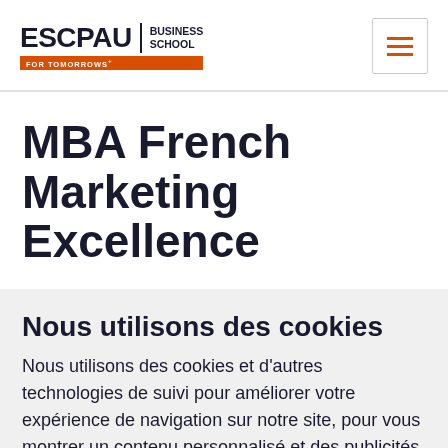[Figure (logo): ESC PAU Business School logo with orange tagline 'FOR TOMORROWS+']
MBA French Marketing Excellence
Nous utilisons des cookies
Nous utilisons des cookies et d'autres technologies de suivi pour améliorer votre expérience de navigation sur notre site, pour vous montrer un contenu personnalisé et des publicités ciblées, pour analyser le trafic de notre